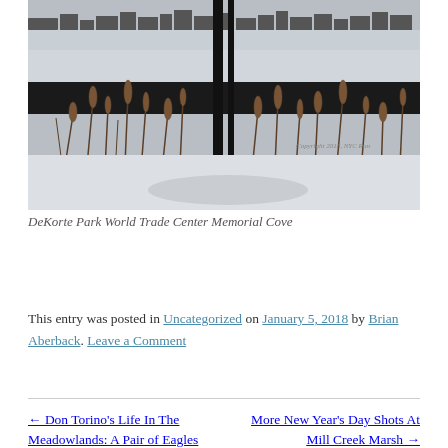[Figure (photo): Winter photo of DeKorte Park World Trade Center Memorial Cove showing a frozen water body, cattail reeds in foreground, city skyline silhouette in background, with a vertical metal structure framing the scene. Copyright watermark visible in lower right.]
DeKorte Park World Trade Center Memorial Cove
This entry was posted in Uncategorized on January 5, 2018 by Brian Aberback. Leave a Comment
← Don Torino's Life In The Meadowlands: A Pair of Eagles
More New Year's Day Shots At Mill Creek Marsh →